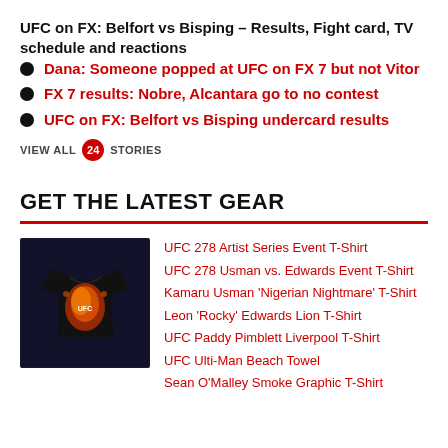UFC on FX: Belfort vs Bisping - Results, Fight card, TV schedule and reactions
Dana: Someone popped at UFC on FX 7 but not Vitor
FX 7 results: Nobre, Alcantara go to no contest
UFC on FX: Belfort vs Bisping undercard results
VIEW ALL 24 STORIES
GET THE LATEST GEAR
[Figure (photo): UFC branded black t-shirt with fighter graphic on dark background]
UFC 278 Artist Series Event T-Shirt
UFC 278 Usman vs. Edwards Event T-Shirt
Kamaru Usman 'Nigerian Nightmare' T-Shirt
Leon 'Rocky' Edwards Lion T-Shirt
UFC Paddy Pimblett Liverpool T-Shirt
UFC Ulti-Man Beach Towel
Sean O'Malley Smoke Graphic T-Shirt